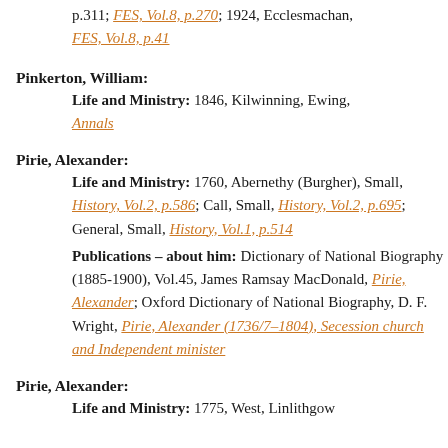p.311; FES, Vol.8, p.270; 1924, Ecclesmachan, FES, Vol.8, p.41
Pinkerton, William:
Life and Ministry: 1846, Kilwinning, Ewing, Annals
Pirie, Alexander:
Life and Ministry: 1760, Abernethy (Burgher), Small, History, Vol.2, p.586; Call, Small, History, Vol.2, p.695; General, Small, History, Vol.1, p.514
Publications – about him: Dictionary of National Biography (1885-1900), Vol.45, James Ramsay MacDonald, Pirie, Alexander; Oxford Dictionary of National Biography, D. F. Wright, Pirie, Alexander (1736/7–1804), Secession church and Independent minister
Pirie, Alexander:
Life and Ministry: 1775, West, Linlithgow